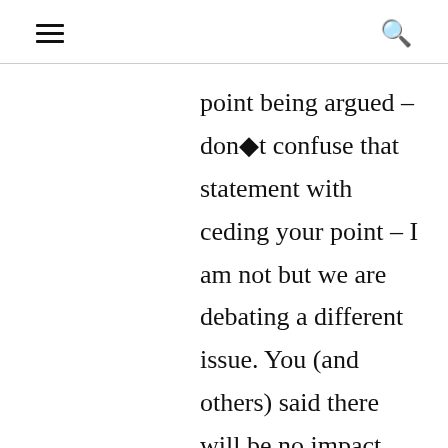☰ 🔍
point being argued – don◆t confuse that statement with ceding your point – I am not but we are debating a different issue. You (and others) said there will be no impact from this decision because a woman